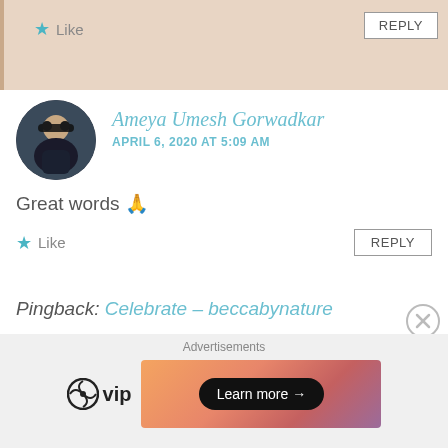Like   REPLY
Ameya Umesh Gorwadkar
APRIL 6, 2020 AT 5:09 AM
Great words 🙏
Like   REPLY
Pingback: Celebrate – beccabynature
RavenSoRay
MAY 8, 2020 AT 12:21 AM
Advertisements
[Figure (logo): WordPress VIP logo and advertisement banner with Learn more button]